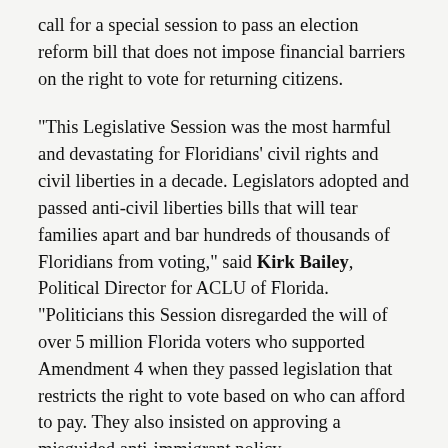call for a special session to pass an election reform bill that does not impose financial barriers on the right to vote for returning citizens.
"This Legislative Session was the most harmful and devastating for Floridians' civil rights and civil liberties in a decade. Legislators adopted and passed anti-civil liberties bills that will tear families apart and bar hundreds of thousands of Floridians from voting," said Kirk Bailey, Political Director for ACLU of Florida. "Politicians this Session disregarded the will of over 5 million Florida voters who supported Amendment 4 when they passed legislation that restricts the right to vote based on who can afford to pay. They also insisted on approving a misguided anti-immigrant policy